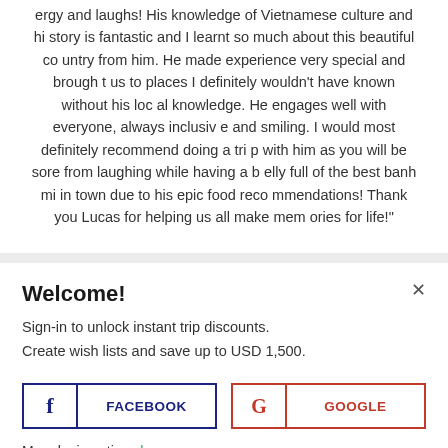ergy and laughs! His knowledge of Vietnamese culture and history is fantastic and I learnt so much about this beautiful country from him. He made experience very special and brought us to places I definitely wouldn't have known without his local knowledge. He engages well with everyone, always inclusive and smiling. I would most definitely recommend doing a trip with him as you will be sore from laughing while having a belly full of the best banh mi in town due to his epic food recommendations! Thank you Lucas for helping us all make memories for life!"
Welcome!
Sign-in to unlock instant trip discounts.
Create wish lists and save up to USD 1,500.
FACEBOOK
GOOGLE
More login options here.